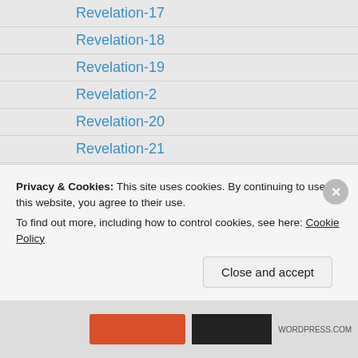Revelation-17
Revelation-18
Revelation-19
Revelation-2
Revelation-20
Revelation-21
Revelation-22
Revelation-3
Revelation-4
Revelation-5
Revelation-6
Revelation-7
Revelation-8
Revelation-9
Privacy & Cookies: This site uses cookies. By continuing to use this website, you agree to their use.
To find out more, including how to control cookies, see here: Cookie Policy
Close and accept